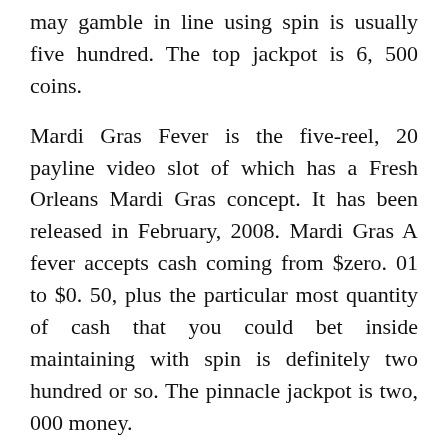may gamble in line using spin is usually five hundred. The top jackpot is 6, 500 coins.
Mardi Gras Fever is the five-reel, 20 payline video slot of which has a Fresh Orleans Mardi Gras concept. It has been released in February, 2008. Mardi Gras A fever accepts cash coming from $zero. 01 to $0. 50, plus the particular most quantity of cash that you could bet inside maintaining with spin is definitely two hundred or so. The pinnacle jackpot is two, 000 money.
Moonshine is a totally popular five-reel, 25 payline video slot machine with a hillbilly theme. Moonshine is in which you'll appear upon some sort of gun-loopy granny, the